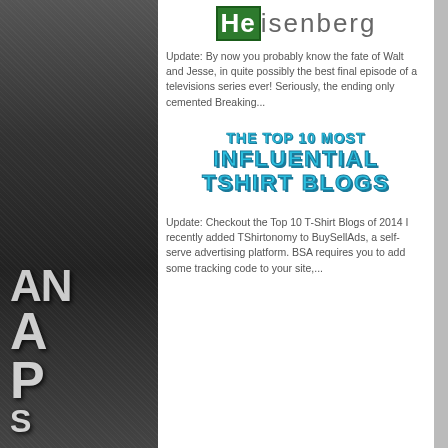[Figure (illustration): Left sidebar showing a dark grainy black-and-white photo background with partial letters visible (appears to be a Breaking Bad promotional image), with large bold white letters spelling out fragments of text]
Heisenberg
Update: By now you probably know the fate of Walt and Jesse, in quite possibly the best final episode of a televisions series ever! Seriously, the ending only cemented Breaking...
[Figure (infographic): Bold cyan/teal colored text graphic reading THE TOP 10 MOST INFLUENTIAL TSHIRT BLOGS on white background]
Update: Checkout the Top 10 T-Shirt Blogs of 2014 I recently added TShirtonomy to BuySellAds, a self-serve advertising platform. BSA requires you to add some tracking code to your site,...